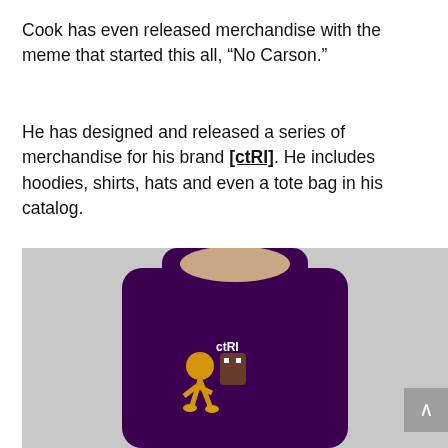Cook has even released merchandise with the meme that started this all, “No Carson.”
He has designed and released a series of merchandise for his brand [ctRI]. He includes hoodies, shirts, hats and even a tote bag in his catalog.
[Figure (photo): A man wearing a purple hoodie with a [ctRI] brand graphic on the chest, photographed against a light grey background. A grey scroll-to-top button is visible in the lower right corner.]